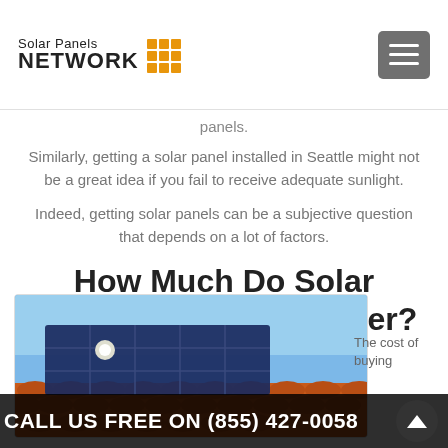Solar Panels NETWORK
panels.
Similarly, getting a solar panel installed in Seattle might not be a great idea if you fail to receive adequate sunlight.
Indeed, getting solar panels can be a subjective question that depends on a lot of factors.
How Much Do Solar Panels Cost in Aulander?
[Figure (photo): Solar panels mounted on an orange tiled roof against a blue sky]
The cost of buying
CALL US FREE ON (855) 427-0058